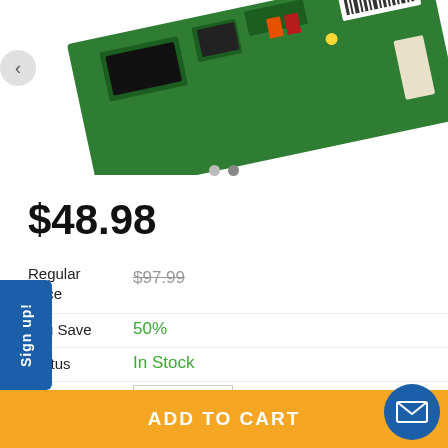[Figure (photo): Green PCB circuit board photographed on white background]
$48.98
Regular Price  $97.99
You Save  50%
Status  In Stock
Quantity  1
ADD TO CART
Sign up!